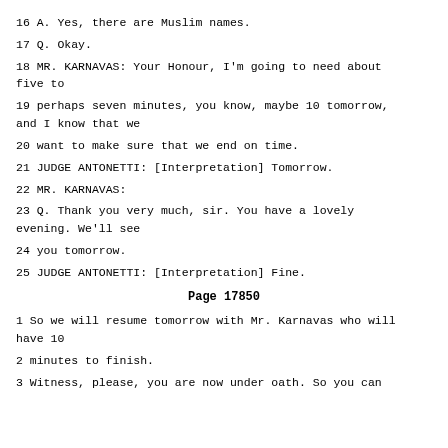16 A. Yes, there are Muslim names.
17 Q. Okay.
18 MR. KARNAVAS: Your Honour, I'm going to need about five to
19 perhaps seven minutes, you know, maybe 10 tomorrow, and I know that we
20 want to make sure that we end on time.
21 JUDGE ANTONETTI: [Interpretation] Tomorrow.
22 MR. KARNAVAS:
23 Q. Thank you very much, sir. You have a lovely evening. We'll see
24 you tomorrow.
25 JUDGE ANTONETTI: [Interpretation] Fine.
Page 17850
1 So we will resume tomorrow with Mr. Karnavas who will have 10
2 minutes to finish.
3 Witness, please, you are now under oath. So you can